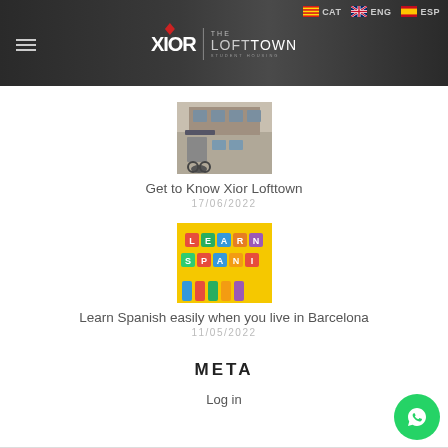Xior Student Housing | The Loft Town — Navigation with CAT, ENG, ESP language options
[Figure (photo): Exterior photo of a building — Xior Lofttown property]
Get to Know Xior Lofttown
17/06/2022
[Figure (photo): Colorful letter tiles on yellow background spelling words — Learn Spanish]
Learn Spanish easily when you live in Barcelona
11/05/2022
META
Log in